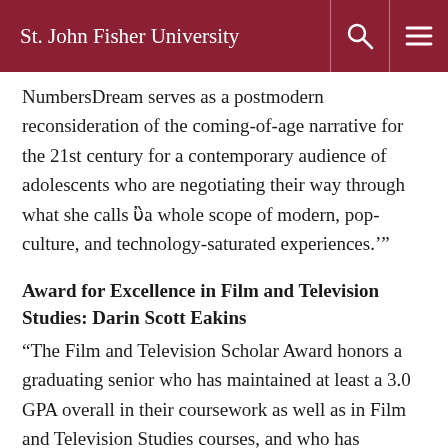St. John Fisher University
NumbersDream serves as a postmodern reconsideration of the coming-of-age narrative for the 21st century for a contemporary audience of adolescents who are negotiating their way through what she calls ‘a whole scope of modern, pop-culture, and technology-saturated experiences.’”
Award for Excellence in Film and Television Studies: Darin Scott Eakins
“The Film and Television Scholar Award honors a graduating senior who has maintained at least a 3.0 GPA overall in their coursework as well as in Film and Television Studies courses, and who has produced outstanding work in at least one FTVS